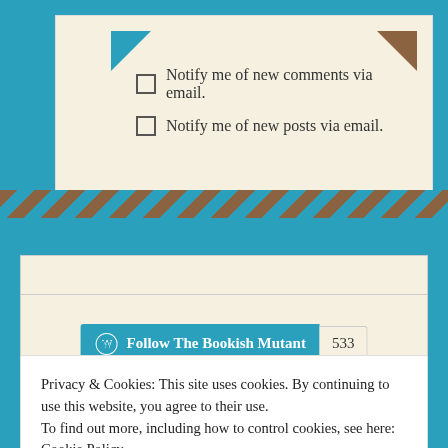☐ Notify me of new comments via email.
☐ Notify me of new posts via email.
[Figure (other): WordPress Follow button for 'The Bookish Mutant' with follower count 533]
Privacy & Cookies: This site uses cookies. By continuing to use this website, you agree to their use. To find out more, including how to control cookies, see here: Cookie Policy
Close and accept